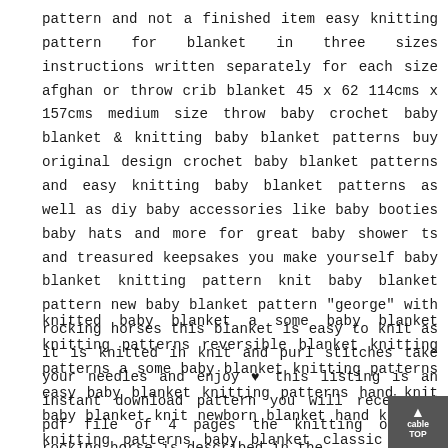pattern and not a finished item easy knitting pattern for blanket in three sizes instructions written separately for each size afghan or throw crib blanket 45 x 62 114cms x 157cms medium size throw baby crochet baby blanket & knitting baby blanket patterns buy original design crochet baby blanket patterns and easy knitting baby blanket patterns as well as diy baby accessories like baby booties baby hats and more for great baby shower ts and treasured keepsakes you make yourself baby blanket knitting pattern knit baby blanket pattern new baby blanket pattern "george" with rocking horses this blanket is easy to knit as it is knitted in knit and purl stitches take your needles and enjoy ♥ this listing is an instant download pattern you will receive 1 pdf file of 4 pages the knitting of the rocking horse is described in the
knitted baby blanket a some baby blanket knitting patterns reversible blanket knitting patterns a some baby blanket knitting patterns easy baby blanket knitting patterns hand knit baby blanket knit newborn blanket hand knitted knitting patterns baby blanket classic cable blanket shale baby blanket fieldguided baa baa black sheep serenity